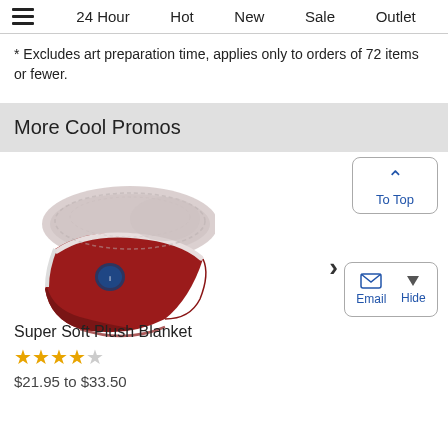≡  24 Hour  Hot  New  Sale  Outlet
* Excludes art preparation time, applies only to orders of 72 items or fewer.
More Cool Promos
[Figure (photo): A folded red and grey Super Soft Plush Blanket with an embroidered logo visible on the front.]
Super Soft Plush Blanket
★★★★☆
$21.95 to $33.50